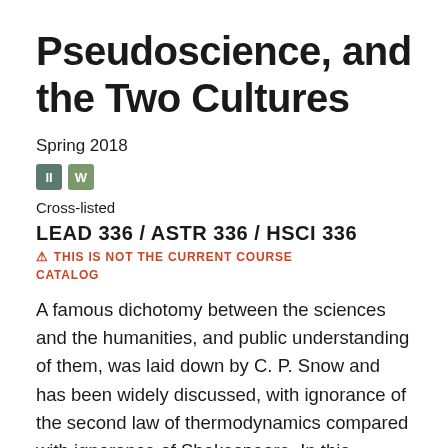Pseudoscience, and the Two Cultures
Spring 2018
II  W
Cross-listed
LEAD 336 / ASTR 336 / HSCI 336
⚠ THIS IS NOT THE CURRENT COURSE CATALOG
A famous dichotomy between the sciences and the humanities, and public understanding of them, was laid down by C. P. Snow and has been widely discussed, with ignorance of the second law of thermodynamics compared with ignorance of Shakespeare. In this seminar, we will consider several aspects of science and